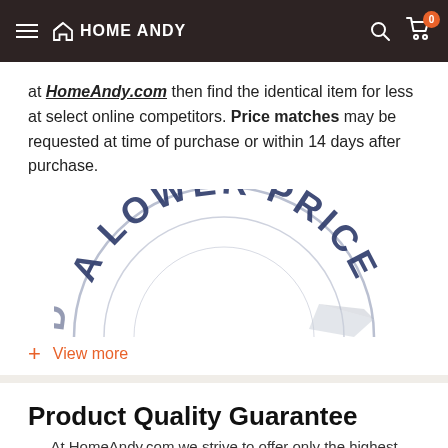HOME ANDY
at HomeAndy.com then find the identical item for less at select online competitors. Price matches may be requested at time of purchase or within 14 days after purchase.
[Figure (illustration): Circular badge/stamp graphic with text 'A LOWER PRICE' arranged in an arc, partially visible, in dark navy blue on a light background with concentric circular borders.]
+ View more
Product Quality Guarantee
At HomeAndy.com we strive to offer only the highest quality